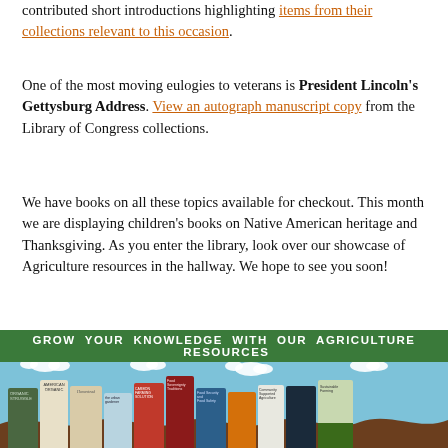contributed short introductions highlighting items from their collections relevant to this occasion.
One of the most moving eulogies to veterans is President Lincoln's Gettysburg Address. View an autograph manuscript copy from the Library of Congress collections.
We have books on all these topics available for checkout. This month we are displaying children's books on Native American heritage and Thanksgiving. As you enter the library, look over our showcase of Agriculture resources in the hallway. We hope to see you soon!
[Figure (photo): Bulletin board display titled 'GROW YOUR KNOWLEDGE WITH OUR AGRICULTURE RESOURCES' with a sky and clouds background, brown wavy soil border, and multiple agriculture-related books arranged along the bottom.]